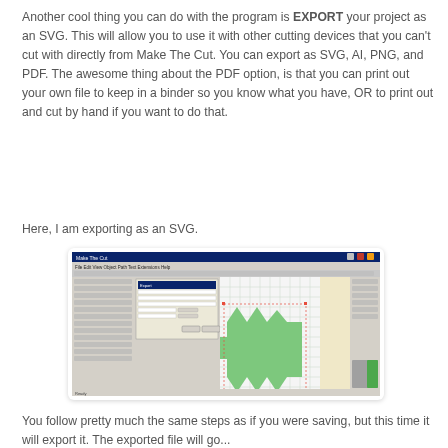Another cool thing you can do with the program is EXPORT your project as an SVG.  This will allow you to use it with other cutting devices that you can't cut with directly from Make The Cut.  You can export as SVG, AI, PNG, and PDF. The awesome thing about the PDF option, is that you can print out your own file to keep in a binder so you know what you have, OR to print out and cut by hand if you want to do that.
Here, I am exporting as an SVG.
[Figure (screenshot): Screenshot of Make The Cut software showing a green box/shape design on a grid canvas with toolbars on left and right panels.]
You follow pretty much the same steps as if you were saving, but this time it will export it.  The exported file will go...